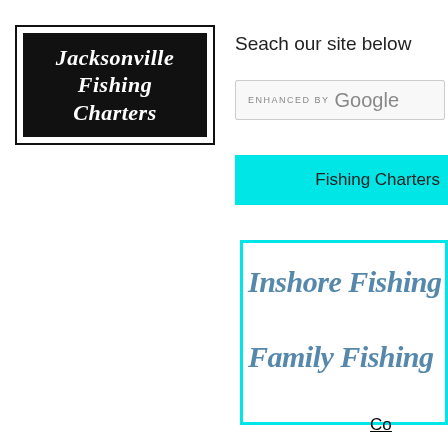[Figure (logo): Jacksonville Fishing Charters logo — white bold italic text on black background with white border]
Seach our site below
[Figure (screenshot): Search bar with 'ENHANCED BY Google' text]
Fishing Charters
[Figure (screenshot): Box with cyan border containing script text 'Inshore Fishing' and 'Family Fishing']
Co